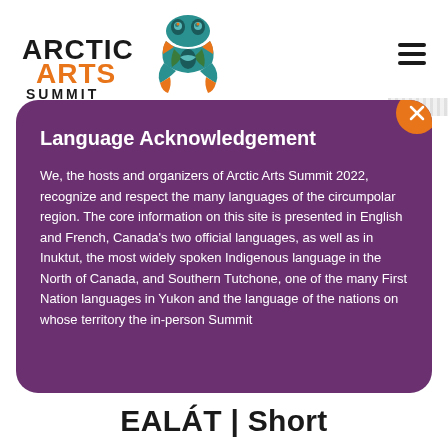Arctic Arts Summit logo and navigation
Language Acknowledgement
We, the hosts and organizers of Arctic Arts Summit 2022, recognize and respect the many languages of the circumpolar region. The core information on this site is presented in English and French, Canada's two official languages, as well as in Inuktut, the most widely spoken Indigenous language in the North of Canada, and Southern Tutchone, one of the many First Nation languages in Yukon and the language of the nations on whose territory the in-person Summit
EALÁT | Short